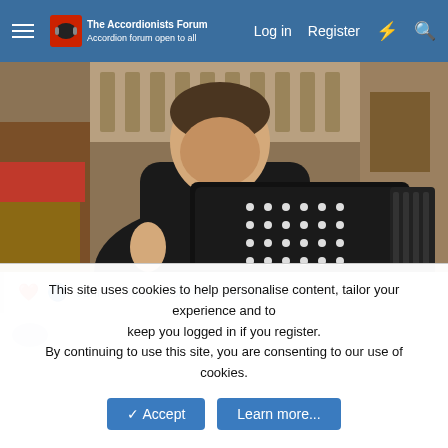The Accordionists Forum — Log in   Register
[Figure (photo): A man in a black shirt playing a large black button accordion in a church setting with wooden pews and red furnishings in the background.]
Johnny, Jules, Robin66 and 1 other person
This site uses cookies to help personalise content, tailor your experience and to keep you logged in if you register. By continuing to use this site, you are consenting to our use of cookies.
✓ Accept   Learn more...